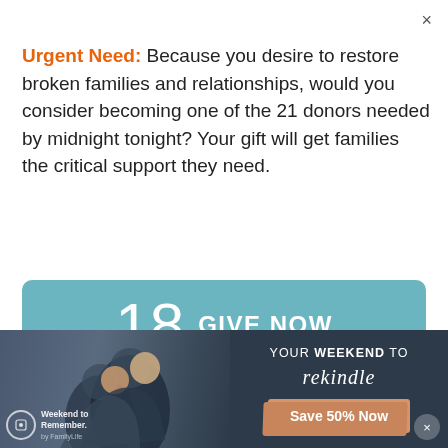×
Urgent Need: Because you desire to restore broken families and relationships, would you consider becoming one of the 21 donors needed by midnight tonight? Your gift will get families the critical support they need.
[Figure (other): Teal button with number 18 and text GIVE NOW]
FAMILYLIFE BLENDED® MINUTE
My Marriage Is Better, and I Feel Guilty About It
[Figure (infographic): Advertisement banner showing a couple, Weekend to Remember logo, text YOUR WEEKEND TO rekindle, Save 50% Now button, and a close X button]